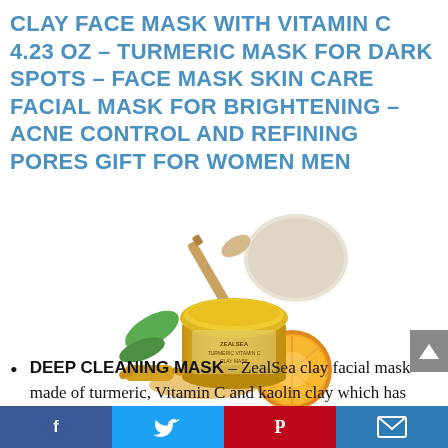CLAY FACE MASK WITH VITAMIN C 4.23 OZ – TURMERIC MASK FOR DARK SPOTS – FACE MASK SKIN CARE FACIAL MASK FOR BRIGHTENING – ACNE CONTROL AND REFINING PORES GIFT FOR WOMEN MEN
[Figure (photo): A golden jar of ZealSea Turmeric Vitamin C Clay Mask surrounded by turmeric root, orange slices, and green leaves, with a makeup brush and sponge/puff in the background.]
DEEP CLEANING MASK – ZealSea clay facial mask made of turmeric, Vitamin C and kaolin clay which has cleansing properties
Facebook | Twitter | Pinterest | Email